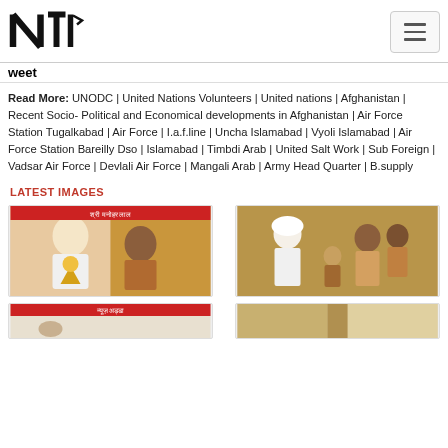NTI logo and hamburger menu
weet
Read More: UNODC | United Nations Volunteers | United nations | Afghanistan | Recent Socio- Political and Economical developments in Afghanistan | Air Force Station Tugalkabad | Air Force | I.a.f.line | Uncha Islamabad | Vyoli Islamabad | Air Force Station Bareilly Dso | Islamabad | Timbdi Arab | United Salt Work | Sub Foreign | Vadsar Air Force | Devlali Air Force | Mangali Arab | Army Head Quarter | B.supply
LATEST IMAGES
[Figure (photo): Photo of a person receiving an award, with a banner reading Shri Manohar Lal in Hindi in the background]
[Figure (photo): Photo of a group of people, one person in white attire presenting something to others]
[Figure (photo): Partially visible bottom image on the left, appears to be a news article or banner]
[Figure (photo): Partially visible bottom image on the right]